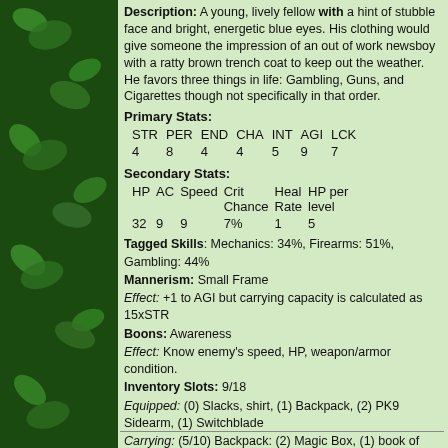Description: A young, lively fellow with a hint of stubble face and bright, energetic blue eyes. His clothing would give someone the impression of an out of work newsboy with a ratty brown trench coat to keep out the weather. He favors three things in life: Gambling, Guns, and Cigarettes though not specifically in that order.
Primary Stats:
| STR | PER | END | CHA | INT | AGI | LCK |
| --- | --- | --- | --- | --- | --- | --- |
| 4 | 8 | 4 | 4 | 5 | 9 | 7 |
Secondary Stats:
| HP | AC | Speed | Crit Chance | Heal Rate | HP per level |
| --- | --- | --- | --- | --- | --- |
| 32 | 9 | 9 | 7% | 1 | 5 |
Tagged Skills: Mechanics: 34%, Firearms: 51%, Gambling: 44%
Mannerism: Small Frame
Effect: +1 to AGI but carrying capacity is calculated as 15xSTR
Boons: Awareness
Effect: Know enemy's speed, HP, weapon/armor condition.
Inventory Slots: 9/18
Equipped: (0) Slacks, shirt, (1) Backpack, (2) PK9 Sidearm, (1) Switchblade
Carrying: (5/10) Backpack: (2) Magic Box, (1) book of matches, (1) box of compression slugs (13 left), (0) $56, (1) Medic Kit